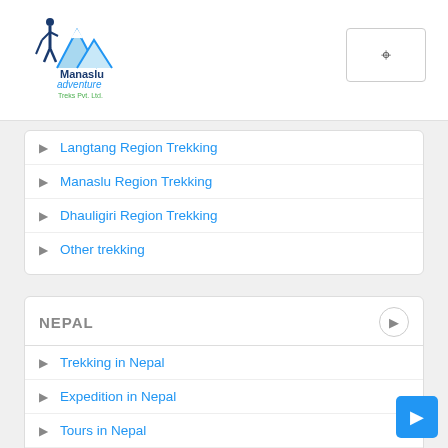Manaslu Adventure Treks Pvt. Ltd.
Langtang Region Trekking
Manaslu Region Trekking
Dhauligiri Region Trekking
Other trekking
NEPAL
Trekking in Nepal
Expedition in Nepal
Tours in Nepal
Peak Climbing